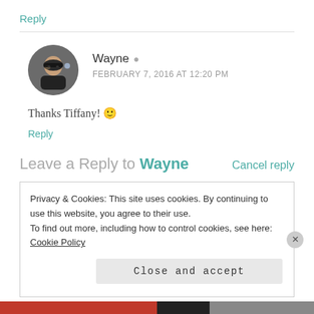Reply
Wayne
FEBRUARY 7, 2016 AT 12:20 PM
Thanks Tiffany! 🙂
Reply
Leave a Reply to Wayne   Cancel reply
Privacy & Cookies: This site uses cookies. By continuing to use this website, you agree to their use. To find out more, including how to control cookies, see here: Cookie Policy
Close and accept